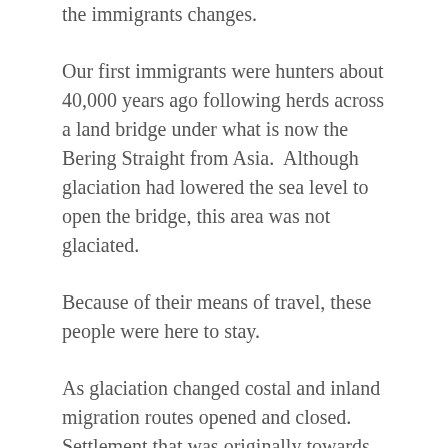the immigrants changes.
Our first immigrants were hunters about 40,000 years ago following herds across a land bridge under what is now the Bering Straight from Asia.  Although glaciation had lowered the sea level to open the bridge, this area was not glaciated.
Because of their means of travel, these people were here to stay.
As glaciation changed costal and inland migration routes opened and closed.  Settlement that was originally towards Central and South America extended into the eastern parts of North America approximately 10,000 years ago.
Again, except perhaps for some back migration from Alaska, these people were here to stay.  We now refer to